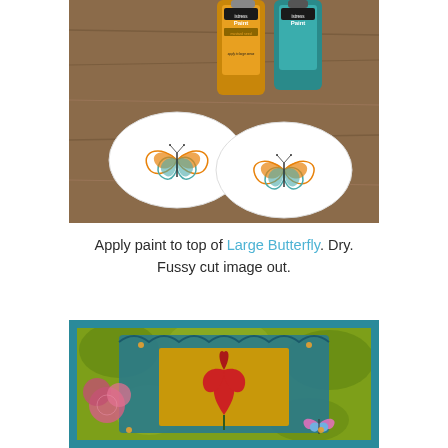[Figure (photo): Photo of two white card shapes with stamped butterfly images in orange and teal/blue, placed on a wooden surface next to two bottles of Distress Paint (one orange/yellow, one teal).]
Apply paint to top of Large Butterfly. Dry. Fussy cut image out.
[Figure (photo): Photo of a colorful mixed-media art piece featuring a decorative teal frame with yellow-green botanical background, a red iris/flower in a central panel, pink flowers, and a small butterfly embellishment.]